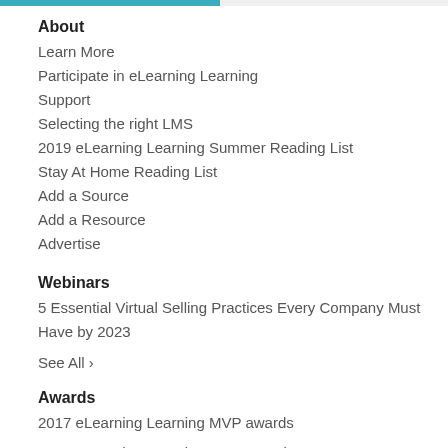About
Learn More
Participate in eLearning Learning
Support
Selecting the right LMS
2019 eLearning Learning Summer Reading List
Stay At Home Reading List
Add a Source
Add a Resource
Advertise
Webinars
5 Essential Virtual Selling Practices Every Company Must Have by 2023
See All ›
Awards
2017 eLearning Learning MVP awards
2018 eLearning Learning MVP Awards
2019 eLearning Learning MVP Awards